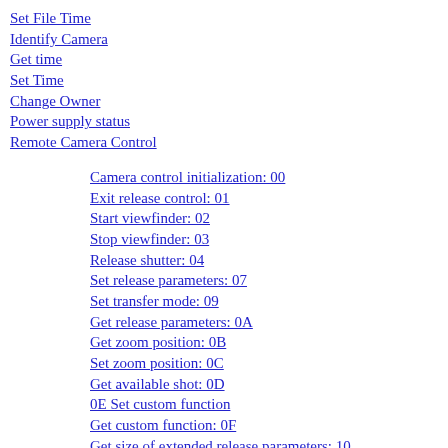Set File Time
Identify Camera
Get time
Set Time
Change Owner
Power supply status
Remote Camera Control
Camera control initialization: 00
Exit release control: 01
Start viewfinder: 02
Stop viewfinder: 03
Release shutter: 04
Set release parameters: 07
Set transfer mode: 09
Get release parameters: 0A
Get zoom position: 0B
Set zoom position: 0C
Get available shot: 0D
0E Set custom function
Get custom function: 0F
Get size of extended release parameters: 10
11 Get version of extended release parameters
Get extended release parameters: 12
13 Set extended parameters